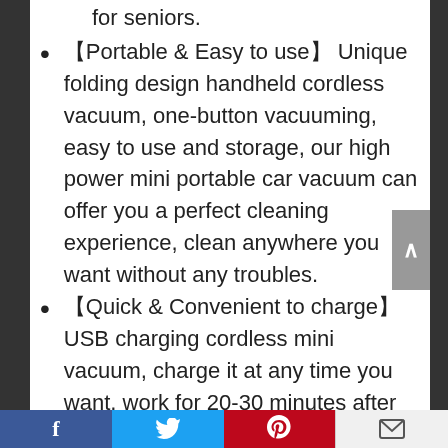【Portable & Easy to use】 Unique folding design handheld cordless vacuum, one-button vacuuming, easy to use and storage, our high power mini portable car vacuum can offer you a perfect cleaning experience, clean anywhere you want without any troubles.
【Quick & Convenient to charge】 USB charging cordless mini vacuum, charge it at any time you want, work for 20-30 minutes after full charge, mini but powerful. Handheld vacuum Cordless